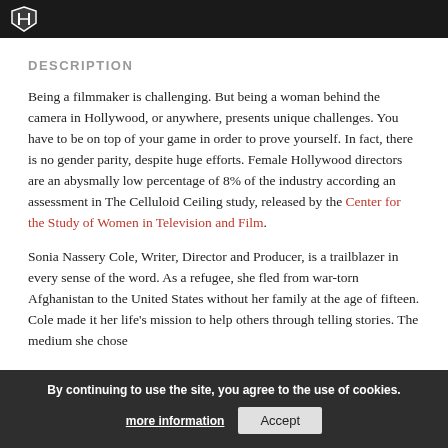[University logo/shield in dark header bar]
DESCRIPTION
Being a filmmaker is challenging. But being a woman behind the camera in Hollywood, or anywhere, presents unique challenges. You have to be on top of your game in order to prove yourself. In fact, there is no gender parity, despite huge efforts. Female Hollywood directors are an abysmally low percentage of 8% of the industry according an assessment in The Celluloid Ceiling study, released by the Center for the Study of Women in Television and Film.
Sonia Nassery Cole, Writer, Director and Producer, is a trailblazer in every sense of the word. As a refugee, she fled from war-torn Afghanistan to the United States without her family at the age of fifteen. Cole made it her life's mission to help others through telling stories. The medium she chose
By continuing to use the site, you agree to the use of cookies. more information  Accept